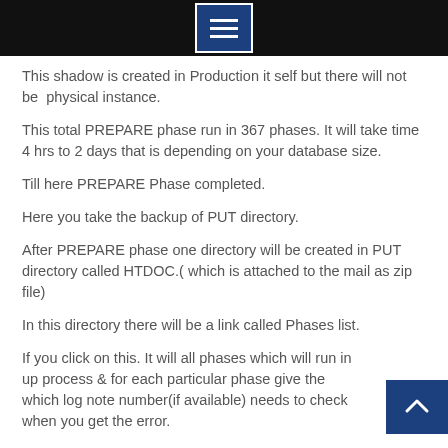[hamburger menu icon]
This shadow is created in Production it self but there will not be  physical instance.
This total PREPARE phase run in 367 phases. It will take time 4 hrs to 2 days that is depending on your database size.
Till here PREPARE Phase completed.
Here you take the backup of PUT directory.
After PREPARE phase one directory will be created in PUT directory called HTDOC.( which is attached to the mail as zip file)
In this directory there will be a link called Phases list.
If you click on this. It will all phases which will run in up process & for each particular phase give the which log note number(if available) needs to check when you get the error.